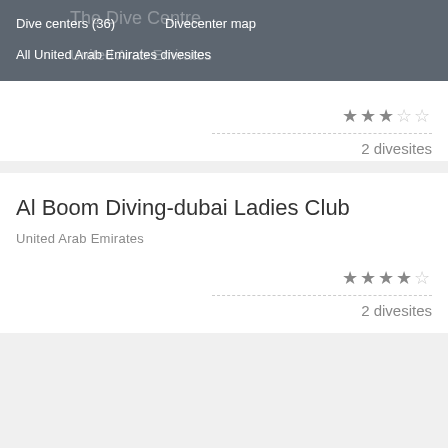Dive centers (36)   Divecenter map
All United Arab Emirates divesites
★★★☆☆
2 divesites
Al Boom Diving-dubai Ladies Club
United Arab Emirates
★★★★☆
2 divesites